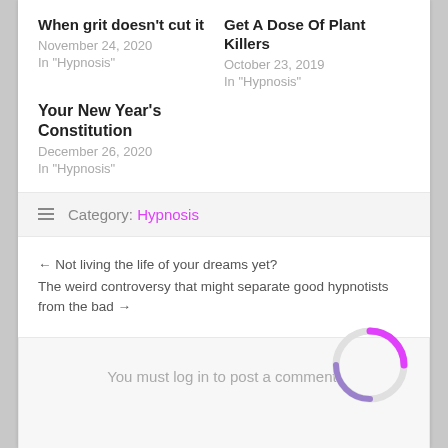When grit doesn't cut it
November 24, 2020
In "Hypnosis"
Get A Dose Of Plant Killers
October 23, 2019
In "Hypnosis"
Your New Year's Constitution
December 26, 2020
In "Hypnosis"
≡ Category: Hypnosis
← Not living the life of your dreams yet?
The weird controversy that might separate good hypnotists from the bad →
[Figure (other): Loading spinner circle with magenta/purple arc]
You must log in to post a comment.